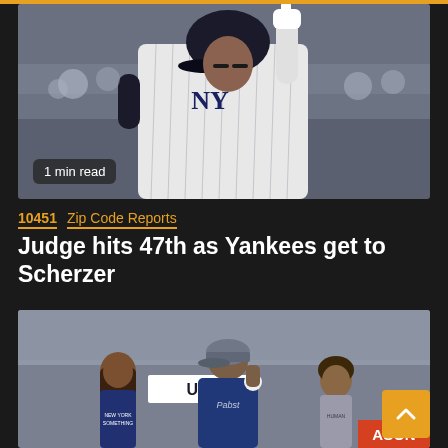[Figure (photo): Baseball player in New York Yankees pinstripe uniform pointing upward with one finger, wearing a batting helmet with black eye black, crowd in background]
1 min read
10451  Zip Code Reports
Judge hits 47th as Yankees get to Scherzer
[Figure (photo): Three people on a baseball field — a child with long hair in a blue shirt, a man in a blue Pabst shirt holding a baseball, and a child in a gray hoodie — with a stadium crowd behind them and signage reading 'UNT' and 'ASON']